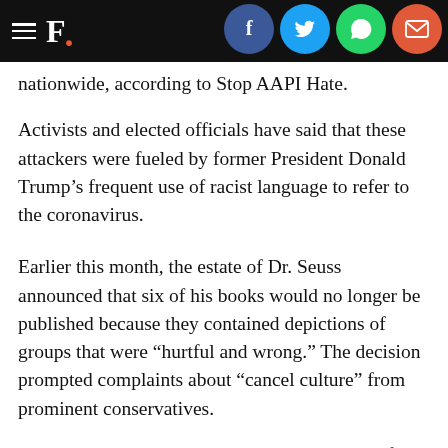F. [logo with social share icons: Facebook, Twitter, WhatsApp, Email]
nationwide, according to Stop AAPI Hate.
Activists and elected officials have said that these attackers were fueled by former President Donald Trump’s frequent use of racist language to refer to the coronavirus.
Earlier this month, the estate of Dr. Seuss announced that six of his books would no longer be published because they contained depictions of groups that were “hurtful and wrong.” The decision prompted complaints about “cancel culture” from prominent conservatives.
Scholastic said it was pulling The Adventures of Ook and Gluk shortly after Billy Kim, a Korean American father of two children, ages 5 and 7, started a petition on Change.org demanding an apology from the publisher after he borrowed the book from a library.